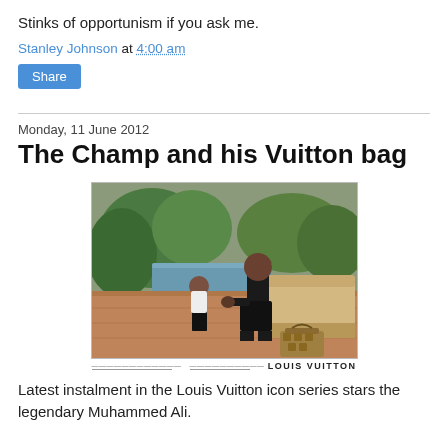Stinks of opportunism if you ask me.
Stanley Johnson at 4:00 am
Share
Monday, 11 June 2012
The Champ and his Vuitton bag
[Figure (photo): Advertisement photo showing Muhammad Ali seated outdoors on a patio near a pool with a young boy standing beside him; a Louis Vuitton bag is on the ground. Bottom caption reads 'LOUIS VUITTON'.]
Latest instalment in the Louis Vuitton icon series stars the legendary Muhammed Ali.